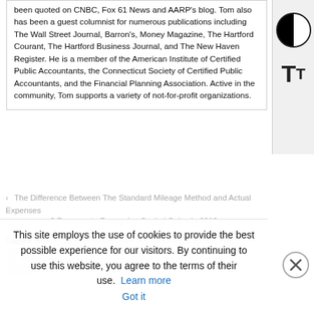been quoted on CNBC, Fox 61 News and AARP's blog. Tom also has been a guest columnist for numerous publications including The Wall Street Journal, Barron's, Money Magazine, The Hartford Courant, The Hartford Business Journal, and The New Haven Register. He is a member of the American Institute of Certified Public Accountants, the Connecticut Society of Certified Public Accountants, and the Financial Planning Association. Active in the community, Tom supports a variety of not-for-profit organizations.
‹ The Difference Between The Standard Mileage Method and Actual Expenses
3 Reasons to Recognize Capital Gains in 2012
Tagged with: 401(k), Affordable Care Act, annuities, Capital Gains, ...
This site employs the use of cookies to provide the best possible experience for our visitors. By continuing to use this website, you agree to the terms of their use. Learn more Got it